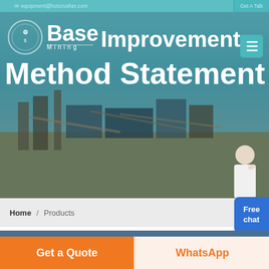equipment@hotcrusher.com   Get A Talk
[Figure (photo): Mining/crushing plant equipment industrial site with conveyor belts and machinery, teal sky background. Hero banner image with Base Mining logo and 'Base Improvement Method Statement' title overlay.]
Base Improvement Method Statement
Home / Products
Free chat
Different Machines To Meet All Need
[Figure (photo): Partial view of industrial building/factory interior, dark blue tones, visible at the bottom of the page.]
Get a Quote
WhatsApp